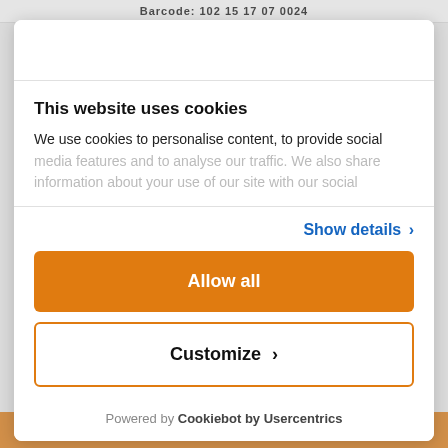Barcode: 102 15 17 07 0024
This website uses cookies
We use cookies to personalise content, to provide social media features and to analyse our traffic. We also share information about your use of our site with our social
Show details >
Allow all
Customize >
Powered by Cookiebot by Usercentrics
ADD TO BASKET